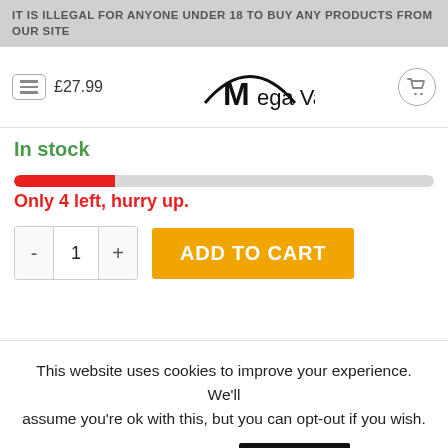IT IS ILLEGAL FOR ANYONE UNDER 18 TO BUY ANY PRODUCTS FROM OUR SITE
[Figure (logo): Mega Vape logo with stylized M and arc above]
In stock
[Figure (infographic): Red progress bar showing low stock level, approximately 24% filled]
Only 4 left, hurry up.
- 1 + ADD TO CART
This website uses cookies to improve your experience. We'll assume you're ok with this, but you can opt-out if you wish.
Cookie settings   ACCEPT